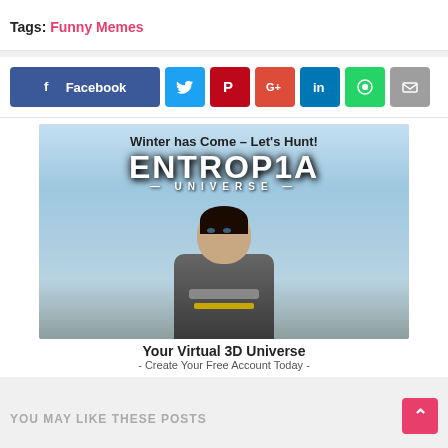Tags: Funny Memes
[Figure (other): Social share buttons row: Facebook, Twitter, Pinterest, Google+, LinkedIn, WhatsApp, Email]
[Figure (illustration): Entropia Universe advertisement banner: 'Winter has Come - Let's Hunt!' with 3D character in armour against snowy landscape. 'Your Virtual 3D Universe - Create Your Free Account Today -']
YOU MAY LIKE THESE POSTS